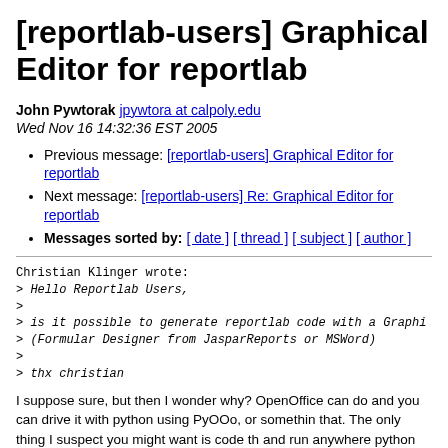[reportlab-users] Graphical Editor for reportlab
John Pywtorak jpywtora at calpoly.edu
Wed Nov 16 14:32:36 EST 2005
Previous message: [reportlab-users] Graphical Editor for reportlab
Next message: [reportlab-users] Re: Graphical Editor for reportlab
Messages sorted by: [ date ] [ thread ] [ subject ] [ author ]
Christian Klinger wrote:
> Hello Reportlab Users,
>
> is it possible to generate reportlab code with a Graphi...
> (Formular Designer from JasparReports or MSWord)
>
> thx christian
I suppose sure, but then I wonder why?  OpenOffice can do and you can drive it with python using PyOOo, or somethin that.  The only thing I suspect you might want is code th and run anywhere python and reportlab are.  But, this ca